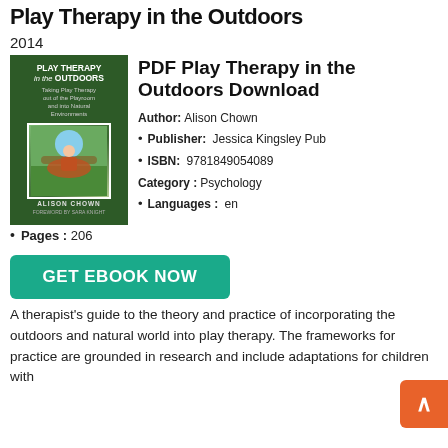Play Therapy in the Outdoors
2014
[Figure (illustration): Book cover of 'Play Therapy in the Outdoors' by Alison Chown, published by Jessica Kingsley. Dark green cover with white title text and a photo of a child in a hammock outdoors.]
PDF Play Therapy in the Outdoors Download
Author: Alison Chown
Publisher: Jessica Kingsley Pub
ISBN: 9781849054089
Category : Psychology
Languages : en
Pages : 206
GET EBOOK NOW
A therapist's guide to the theory and practice of incorporating the outdoors and natural world into play therapy. The frameworks for practice are grounded in research and include adaptations for children with